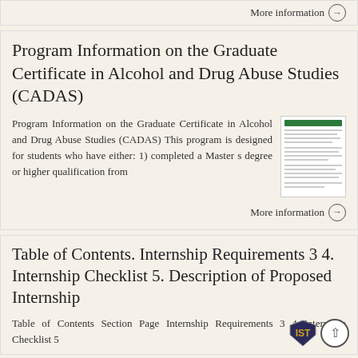More information →
Program Information on the Graduate Certificate in Alcohol and Drug Abuse Studies (CADAS)
Program Information on the Graduate Certificate in Alcohol and Drug Abuse Studies (CADAS) This program is designed for students who have either: 1) completed a Master s degree or higher qualification from
[Figure (photo): Thumbnail image of a document page]
More information →
Table of Contents. Internship Requirements 3 4. Internship Checklist 5. Description of Proposed Internship
Table of Contents Section Page Internship Requirements 3 4 Internship Checklist 5
[Figure (logo): IST shield logo and up-arrow circle button]